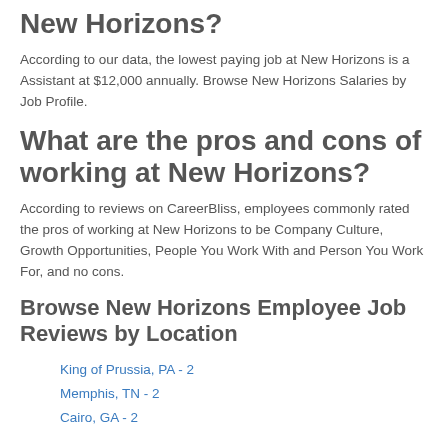New Horizons?
According to our data, the lowest paying job at New Horizons is a Assistant at $12,000 annually. Browse New Horizons Salaries by Job Profile.
What are the pros and cons of working at New Horizons?
According to reviews on CareerBliss, employees commonly rated the pros of working at New Horizons to be Company Culture, Growth Opportunities, People You Work With and Person You Work For, and no cons.
Browse New Horizons Employee Job Reviews by Location
King of Prussia, PA - 2
Memphis, TN - 2
Cairo, GA - 2